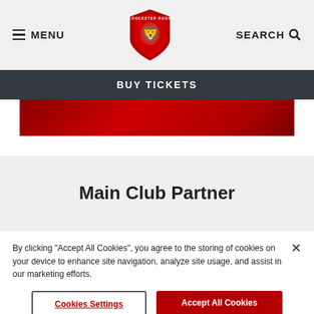MENU | Gloucester Rugby Logo | SEARCH
BUY TICKETS
[Figure (photo): Red background image strip, partial view of a Gloucester Rugby promotional image]
Main Club Partner
By clicking “Accept All Cookies”, you agree to the storing of cookies on your device to enhance site navigation, analyze site usage, and assist in our marketing efforts.
Cookies Settings
Accept All Cookies